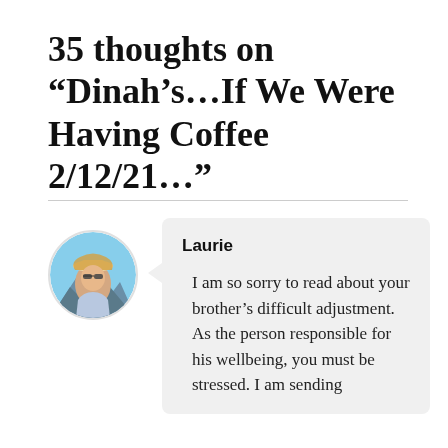35 thoughts on “Dinah’s…If We Were Having Coffee 2/12/21…”
Laurie
[Figure (photo): Circular avatar photo of a woman wearing sunglasses and a hat, outdoors with mountains in background]
I am so sorry to read about your brother’s difficult adjustment. As the person responsible for his wellbeing, you must be stressed. I am sending